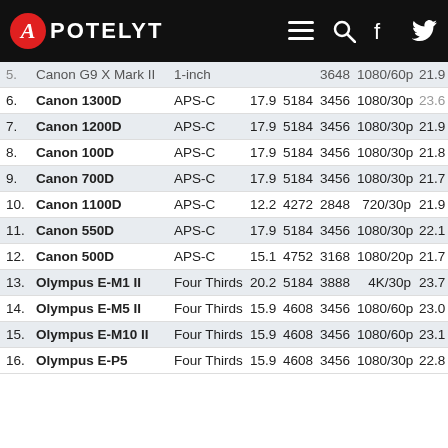APOTELYT
| # | Camera | Sensor | MP | W | H | Video | Score |  |
| --- | --- | --- | --- | --- | --- | --- | --- | --- |
| 5. | Canon G9 X Mark II | 1-inch |  | 3648 | 1080/60p | 21.9 | 1 |
| 6. | Canon 1300D | APS-C | 17.9 | 5184 | 3456 | 1080/30p | 23.6 | 1 |
| 7. | Canon 1200D | APS-C | 17.9 | 5184 | 3456 | 1080/30p | 21.9 | 1 |
| 8. | Canon 100D | APS-C | 17.9 | 5184 | 3456 | 1080/30p | 21.8 | 1 |
| 9. | Canon 700D | APS-C | 17.9 | 5184 | 3456 | 1080/30p | 21.7 | 1 |
| 10. | Canon 1100D | APS-C | 12.2 | 4272 | 2848 | 720/30p | 21.9 | 1 |
| 11. | Canon 550D | APS-C | 17.9 | 5184 | 3456 | 1080/30p | 22.1 | 1 |
| 12. | Canon 500D | APS-C | 15.1 | 4752 | 3168 | 1080/20p | 21.7 | 1 |
| 13. | Olympus E-M1 II | Four Thirds | 20.2 | 5184 | 3888 | 4K/30p | 23.7 | 1 |
| 14. | Olympus E-M5 II | Four Thirds | 15.9 | 4608 | 3456 | 1080/60p | 23.0 | 1 |
| 15. | Olympus E-M10 II | Four Thirds | 15.9 | 4608 | 3456 | 1080/60p | 23.1 | 1 |
| 16. | Olympus E-P5 | Four Thirds | 15.9 | 4608 | 3456 | 1080/30p | 22.8 | 1 |